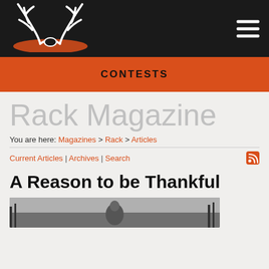Rack Magazine - header with logo and hamburger menu
CONTESTS
Rack Magazine
You are here: Magazines > Rack > Articles
Current Articles | Archives | Search
A Reason to be Thankful
[Figure (photo): Partial photo of a person outdoors, bottom of page cropped]